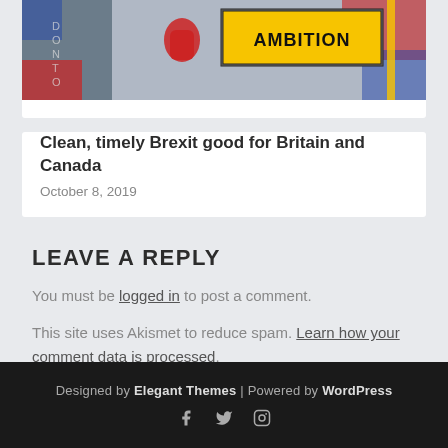[Figure (photo): Partial image showing 'AMBITION' text on a sign with illustrated boxing figure and British/American flag elements]
Clean, timely Brexit good for Britain and Canada
October 8, 2019
LEAVE A REPLY
You must be logged in to post a comment.
This site uses Akismet to reduce spam. Learn how your comment data is processed.
Designed by Elegant Themes | Powered by WordPress